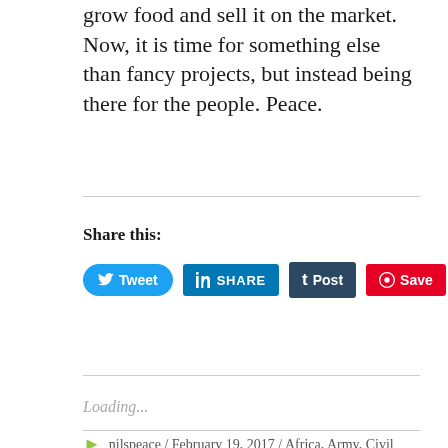grow food and sell it on the market. Now, it is time for something else than fancy projects, but instead being there for the people. Peace.
Share this:
[Figure (other): Social share buttons: Tweet (Twitter, blue rounded), SHARE (LinkedIn, blue square), Post (Tumblr, dark navy), Save (Pinterest, red)]
Loading...
nilspeace / February 19, 2017 / Africa, Army, Civil